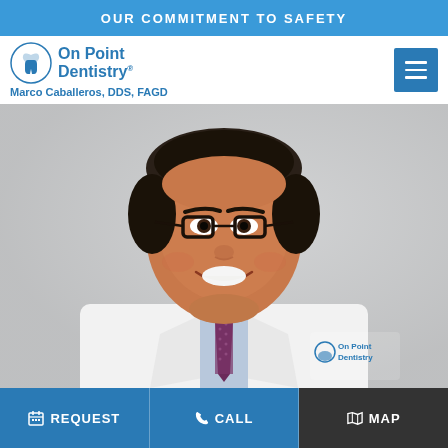OUR COMMITMENT TO SAFETY
[Figure (logo): On Point Dentistry logo with tooth icon and text 'On Point Dentistry® Marco Caballeros, DDS, FAGD']
[Figure (photo): Professional headshot of Dr. Marco Caballeros in a white lab coat with blue shirt and dark patterned tie, wearing glasses, smiling, with On Point Dentistry logo on coat pocket, light gray background]
REQUEST   CALL   MAP